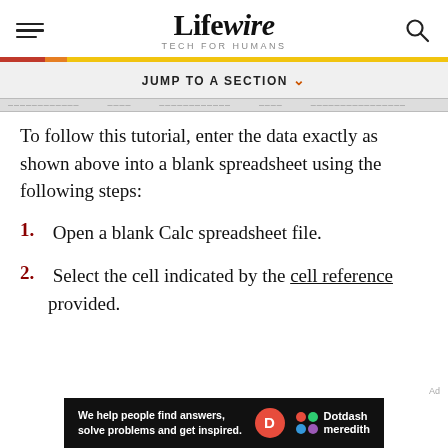Lifewire — TECH FOR HUMANS
JUMP TO A SECTION
[Figure (screenshot): Partial spreadsheet preview row]
To follow this tutorial, enter the data exactly as shown above into a blank spreadsheet using the following steps:
1. Open a blank Calc spreadsheet file.
2. Select the cell indicated by the cell reference provided.
[Figure (logo): Dotdash Meredith advertisement banner: We help people find answers, solve problems and get inspired.]